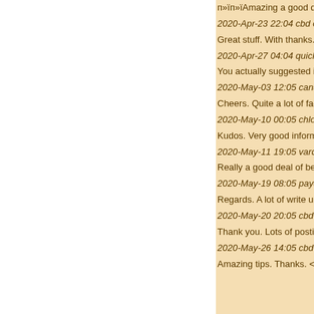п»їп»їАmazing a good deal o...
2020-Apr-23 22:04 cbd oil fo...
Great stuff. With thanks. <a h...
2020-Apr-27 04:04 quick loan...
You actually suggested it effe...
2020-May-03 12:05 canadian...
Cheers. Quite a lot of facts. <...
2020-May-10 00:05 chloroqui...
Kudos. Very good information...
2020-May-11 19:05 vardenafi...
Really a good deal of benefici...
2020-May-19 08:05 payday lo...
Regards. A lot of write ups. <a...
2020-May-20 20:05 cbd oil из...
Thank you. Lots of postings. <...
2020-May-26 14:05 cbd oil fo...
Amazing tips. Thanks. <a hre...